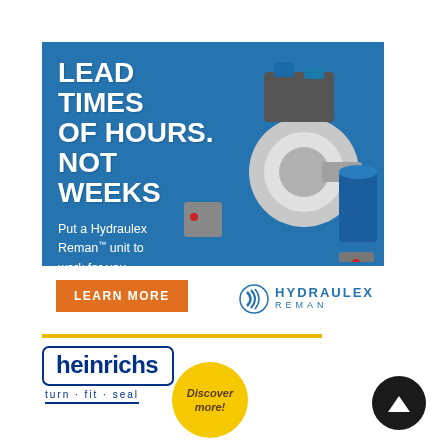[Figure (illustration): Hydraulex Reman advertisement banner. Blue background with hydraulic pump/motor components. Headline: LEAD TIMES OF HOURS. NOT WEEKS. Subtext: Put a Hydraulex Reman unit to work for you. Orange LEARN MORE button. Hydraulex Reman logo at bottom right.]
[Figure (logo): Heinrichs logo with tagline 'turn · fit · seal' in blue oval border. Gold separator bar above. Yellow 'Discover more!' circle button.]